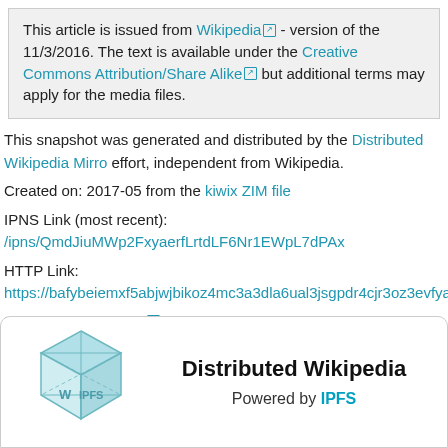This article is issued from Wikipedia - version of the 11/3/2016. The text is available under the Creative Commons Attribution/Share Alike but additional terms may apply for the media files.
This snapshot was generated and distributed by the Distributed Wikipedia Mirro effort, independent from Wikipedia.
Created on: 2017-05 from the kiwix ZIM file
IPNS Link (most recent): /ipns/QmdJiuMWp2FxyaerfLrtdLF6Nr1EWpL7dPAx
HTTP Link:
https://bafybeiemxf5abjwjbikoz4mc3a3dla6ual3jsgpdr4cjr3oz3evfyavhwq.ipfs.c
Download IPFS Here
[Figure (logo): Distributed Wikipedia powered by IPFS logo card with a teal 3D cube icon on the left and 'Distributed Wikipedia' title and 'Powered by IPFS' subtitle on the right]